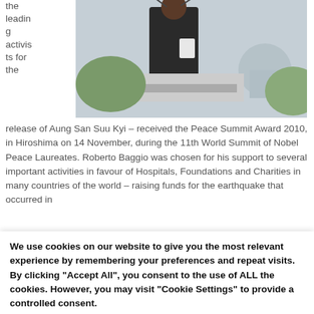the leading activists for the
[Figure (photo): A person in a dark suit standing at a podium with microphones, reading papers. A domed building is visible in the background.]
release of Aung San Suu Kyi – received the Peace Summit Award 2010, in Hiroshima on 14 November, during the 11th World Summit of Nobel Peace Laureates. Roberto Baggio was chosen for his support to several important activities in favour of Hospitals, Foundations and Charities in many countries of the world – raising funds for the earthquake that occurred in
We use cookies on our website to give you the most relevant experience by remembering your preferences and repeat visits. By clicking "Accept All", you consent to the use of ALL the cookies. However, you may visit "Cookie Settings" to provide a controlled consent.